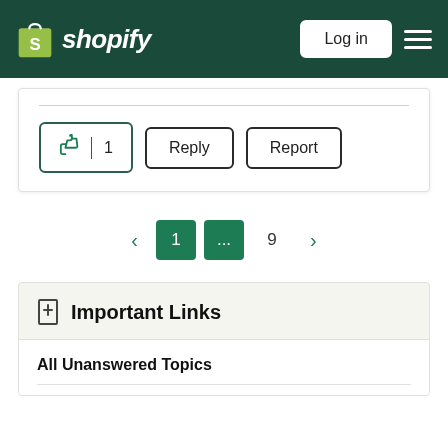shopify | Log in
[Figure (screenshot): Thumbs up like button showing count of 1, Reply button, and Report button in a card]
< 1 ... 9 >
Important Links
All Unanswered Topics